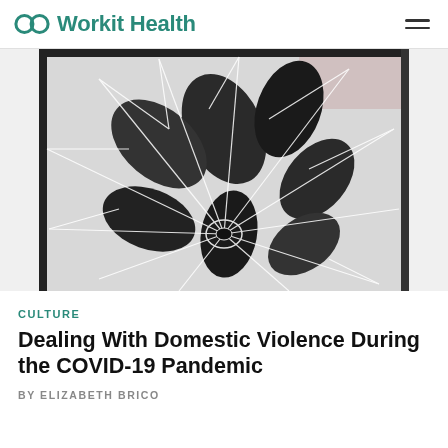Workit Health
[Figure (photo): Black and white photo of plant leaves seen through a shattered/cracked glass surface.]
CULTURE
Dealing With Domestic Violence During the COVID-19 Pandemic
BY ELIZABETH BRICO